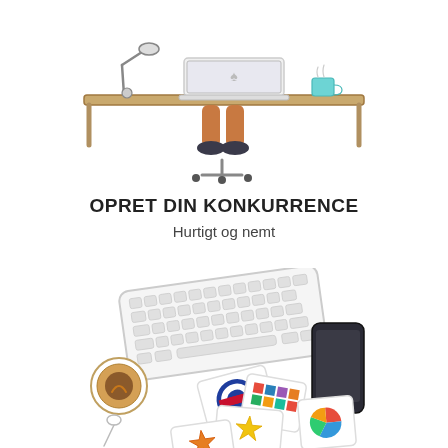[Figure (illustration): Top-down view illustration of a person sitting at a desk with a laptop, coffee cup, and desk lamp]
OPRET DIN KONKURRENCE
Hurtigt og nemt
[Figure (illustration): Top-down view illustration of a desk with a keyboard, smartphone, coffee cup with spoon, and scattered design/logo cards]